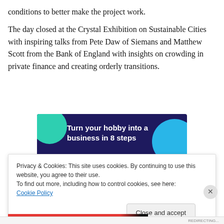conditions to better make the project work.
The day closed at the Crystal Exhibition on Sustainable Cities with inspiring talks from Pete Daw of Siemans and Matthew Scott from the Bank of England with insights on crowding in private finance and creating orderly transitions.
[Figure (illustration): Advertisement banner with dark navy background, teal and blue circular shapes, white bold text reading 'Turn your hobby into a business in 8 steps']
Privacy & Cookies: This site uses cookies. By continuing to use this website, you agree to their use.
To find out more, including how to control cookies, see here: Cookie Policy
Close and accept